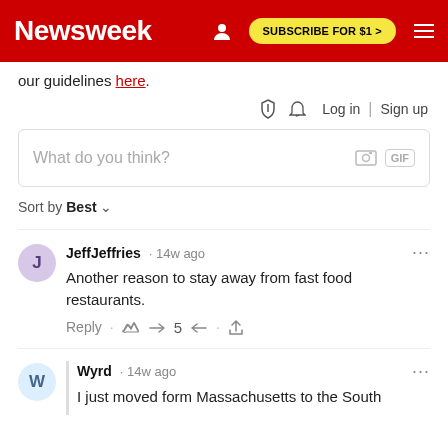Newsweek | SUBSCRIBE FOR $1 >
our guidelines here.
Log in | Sign up
What do you think?
Sort by Best
JeffJeffries · 14w ago
Another reason to stay away from fast food restaurants.
Reply · 👍 5 👎 · Share
Wyrd · 14w ago
I just moved form Massachusetts to the South